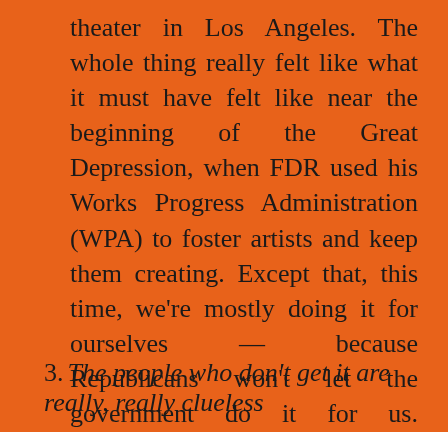theater in Los Angeles. The whole thing really felt like what it must have felt like near the beginning of the Great Depression, when FDR used his Works Progress Administration (WPA) to foster artists and keep them creating. Except that, this time, we're mostly doing it for ourselves — because Republicans won't let the government do it for us. Speaking of which...
3. The people who don't get it are really, really clueless
Privacy & Cookies: This site uses cookies. By continuing to use this website, you agree to their use.
To find out more, including how to control cookies, see here: Cookie Policy
Close and accept
were mostly west valley business types — realtors,